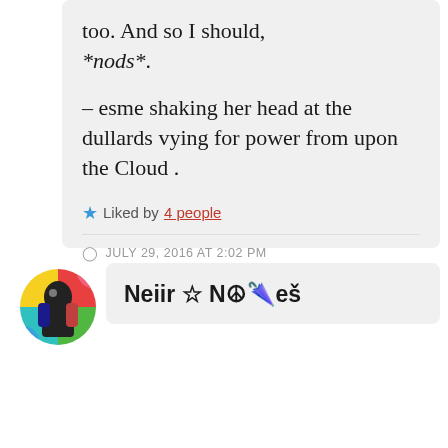too. And so I should, *nods*.
– esme shaking her head at the dullards vying for power from upon the Cloud.
★ Liked by 4 people
JULY 29, 2016 AT 2:02 PM
↳ REPLY
[Figure (photo): Circular avatar image with colorful pop-art style portrait]
Neiir ☆ N☮🌂eš